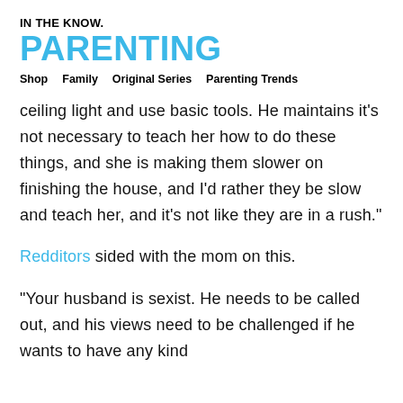IN THE KNOW.
PARENTING
Shop   Family   Original Series   Parenting Trends
ceiling light and use basic tools. He maintains it’s not necessary to teach her how to do these things, and she is making them slower on finishing the house, and I’d rather they be slow and teach her, and it’s not like they are in a rush.”
Redditors sided with the mom on this.
“Your husband is sexist. He needs to be called out, and his views need to be challenged if he wants to have any kind